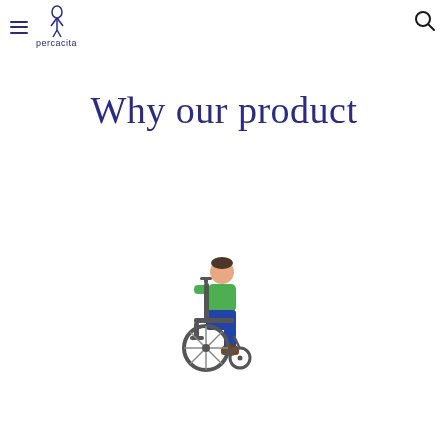percacita
Why our product
[Figure (illustration): Person sitting in a wheelchair illustration, colorful icon style]